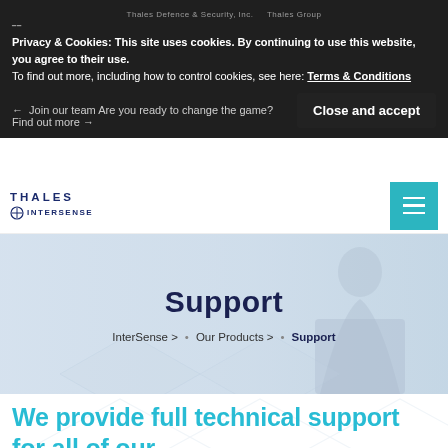Privacy & Cookies: This site uses cookies. By continuing to use this website, you agree to their use. To find out more, including how to control cookies, see here: Terms & Conditions
Close and accept
[Figure (logo): Thales InterSense logo with hamburger menu button]
[Figure (photo): Hero banner showing business professional in background, light blue-grey gradient overlay]
Support
InterSense >  •  Our Products >  •  Support
We provide full technical support for all of our